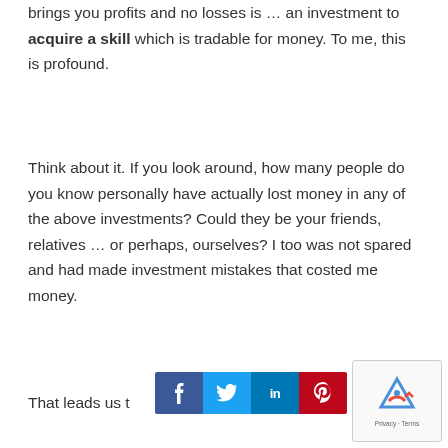brings you profits and no losses is … an investment to acquire a skill which is tradable for money. To me, this is profound.
Think about it. If you look around, how many people do you know personally have actually lost money in any of the above investments? Could they be your friends, relatives … or perhaps, ourselves? I too was not spared and had made investment mistakes that costed me money.
That leads us t… ns:
[Figure (infographic): Social sharing bar with Facebook, Twitter, LinkedIn, and Pinterest buttons]